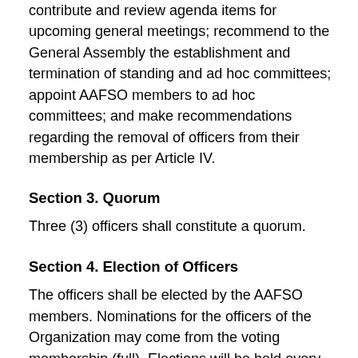contribute and review agenda items for upcoming general meetings; recommend to the General Assembly the establishment and termination of standing and ad hoc committees; appoint AAFSO members to ad hoc committees; and make recommendations regarding the removal of officers from their membership as per Article IV.
Section 3. Quorum
Three (3) officers shall constitute a quorum.
Section 4. Election of Officers
The officers shall be elected by the AAFSO members. Nominations for the officers of the Organization may come from the voting membership (full). Elections will be held every two years.